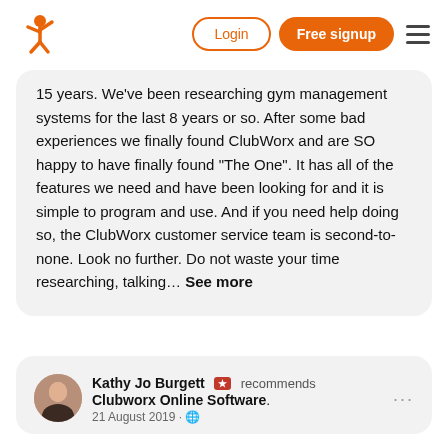[Figure (logo): ClubWorx orange stick figure logo]
Login
Free signup
15 years. We've been researching gym management systems for the last 8 years or so. After some bad experiences we finally found ClubWorx and are SO happy to have finally found "The One". It has all of the features we need and have been looking for and it is simple to program and use. And if you need help doing so, the ClubWorx customer service team is second-to-none. Look no further. Do not waste your time researching, talking... See more
[Figure (photo): Profile photo of Kathy Jo Burgett]
Kathy Jo Burgett recommends Clubworx Online Software. 21 August 2019 ·